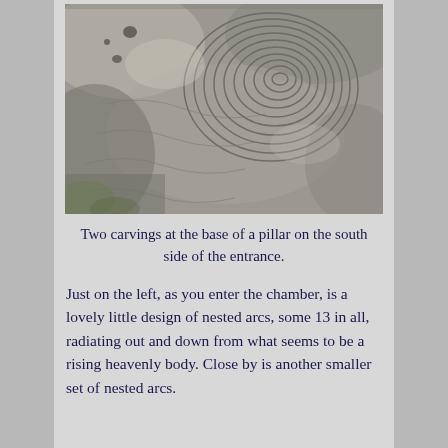[Figure (photo): Close-up photograph of carved stone surface showing spiral/nested arc patterns carved into rock, with circular swirling relief carvings visible across the surface]
Two carvings at the base of a pillar on the south side of the entrance.
Just on the left, as you enter the chamber, is a lovely little design of nested arcs, some 13 in all, radiating out and down from what seems to be a rising heavenly body. Close by is another smaller set of nested arcs.